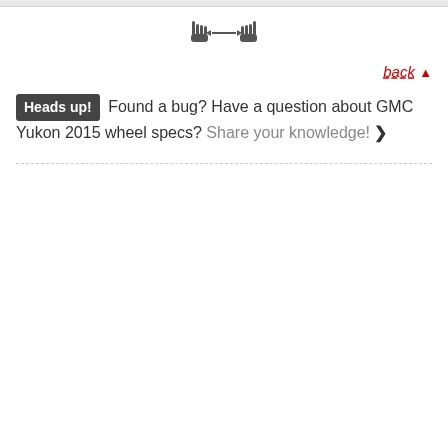[Figure (other): Navigation icons showing two cursor/hand icons with a double-headed arrow between them]
back ▲
Heads up! Found a bug? Have a question about GMC Yukon 2015 wheel specs? Share your knowledge! ❯